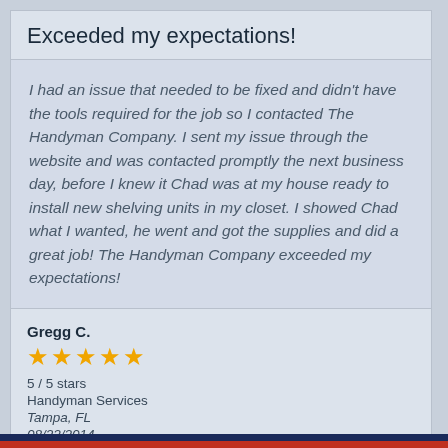Exceeded my expectations!
I had an issue that needed to be fixed and didn't have the tools required for the job so I contacted The Handyman Company. I sent my issue through the website and was contacted promptly the next business day, before I knew it Chad was at my house ready to install new shelving units in my closet. I showed Chad what I wanted, he went and got the supplies and did a great job! The Handyman Company exceeded my expectations!
Gregg C.
★★★★★
5 / 5 stars
Handyman Services
Tampa, FL
08/22/2014